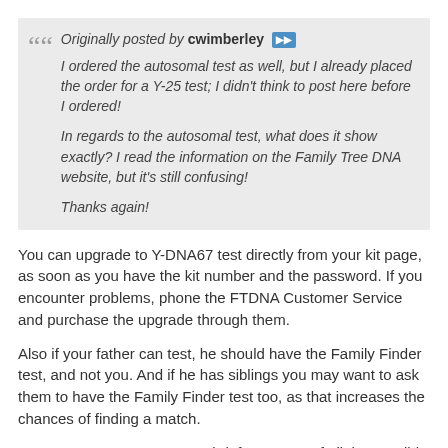Originally posted by cwimberley
I ordered the autosomal test as well, but I already placed the order for a Y-25 test; I didn't think to post here before I ordered!

In regards to the autosomal test, what does it show exactly? I read the information on the Family Tree DNA website, but it's still confusing!

Thanks again!
You can upgrade to Y-DNA67 test directly from your kit page, as soon as you have the kit number and the password. If you encounter problems, phone the FTDNA Customer Service and purchase the upgrade through them.
Also if your father can test, he should have the Family Finder test, and not you. And if he has siblings you may want to ask them to have the Family Finder test too, as that increases the chances of finding a match.
Let me present to you a very brief summary of all the possible testing avenues at Family Tree DNA. FTDNA offers the following choice of tests:
Family Finder (autosomal),
FMS (mtDNA, tracing matrilineal relationships only),